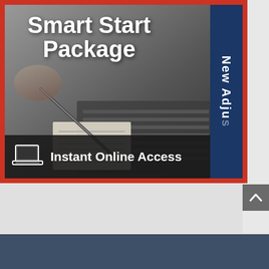[Figure (screenshot): Product advertisement card with red border. Background photo shows hands writing with pen near a laptop keyboard. Large white bold text reads 'Smart Start Package'. Blue vertical sidebar on right reads 'New Adju' (truncated, likely 'New Adjuster'). Dark bottom bar with laptop icon and text 'Instant Online Access'.]
[Figure (other): Small dark gray scroll-to-top button with white upward chevron/caret arrow, positioned at top-right of lower section.]